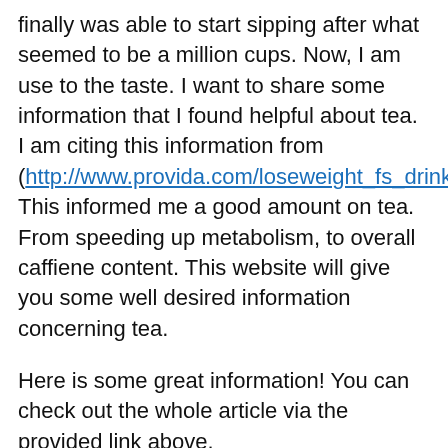finally was able to start sipping after what seemed to be a million cups. Now, I am use to the taste. I want to share some information that I found helpful about tea. I am citing this information from (http://www.provida.com/loseweight_fs_drinktea.asp). This informed me a good amount on tea. From speeding up metabolism, to overall caffiene content. This website will give you some well desired information concerning tea.
Here is some great information! You can check out the whole article via the provided link above.
[One of the most widely accepted and researched health benefits of all teas is that they are diet...